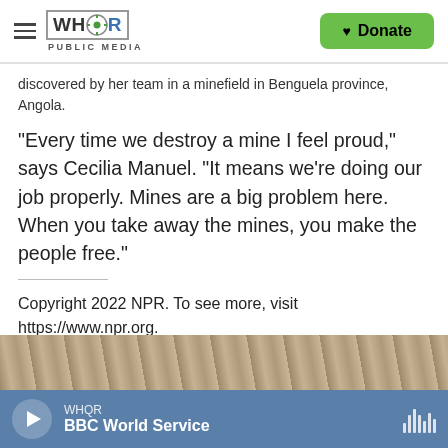WHQR PUBLIC MEDIA — Donate
discovered by her team in a minefield in Benguela province, Angola.
"Every time we destroy a mine I feel proud," says Cecilia Manuel. "It means we're doing our job properly. Mines are a big problem here. When you take away the mines, you make the people free."
Copyright 2022 NPR. To see more, visit https://www.npr.org.
[Figure (photo): Partial view of ground/debris photo at bottom of page]
WHQR — BBC World Service (audio player bar)